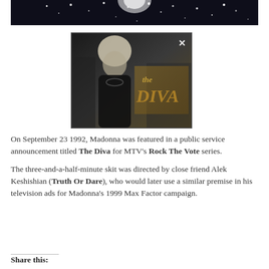[Figure (photo): Top portion of a dark background image with sparkle/light effects, partially cropped at top of page]
[Figure (photo): Thumbnail video still showing Madonna with blonde hair in black outfit, with 'The Diva' text overlay in gold/brown and a white X close button in upper right corner]
On September 23 1992, Madonna was featured in a public service announcement titled The Diva for MTV's Rock The Vote series.
The three-and-a-half-minute skit was directed by close friend Alek Keshishian (Truth Or Dare), who would later use a similar premise in his television ads for Madonna's 1999 Max Factor campaign.
Share this: